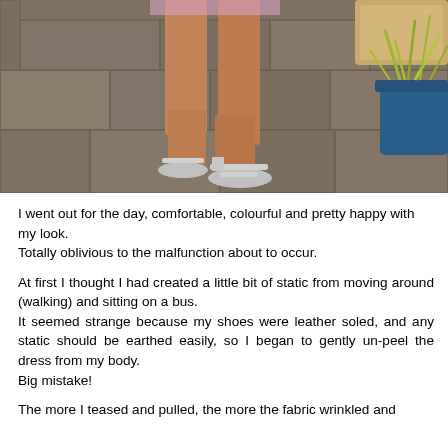[Figure (photo): Close-up photo of a person's legs and feet wearing silver sandals, walking on a stone-paved path. A blue pot with ornamental grass is visible on the right side.]
I went out for the day, comfortable, colourful and pretty happy with my look.
Totally oblivious to the malfunction about to occur.
At first I thought I had created a little bit of static from moving around (walking) and sitting on a bus.
It seemed strange because my shoes were leather soled, and any static should be earthed easily, so I began to gently un-peel the dress from my body.
Big mistake!
The more I teased and pulled, the more the fabric wrinkled and